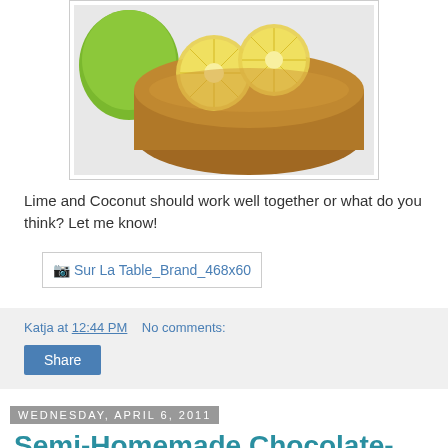[Figure (photo): Photo of a round cake with lemon/lime slices on top and a whole lime beside it on a white surface]
Lime and Coconut should work well together or what do you think? Let me know!
[Figure (other): Sur La Table_Brand_468x60 advertisement banner]
Katja at 12:44 PM    No comments:
Share
Wednesday, April 6, 2011
Semi-Homemade Chocolate-Hazelnut Cake